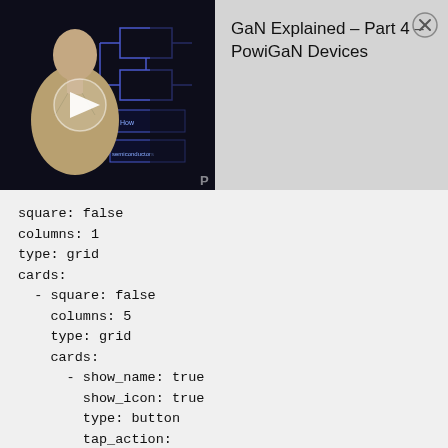[Figure (screenshot): Video thumbnail showing a presenter (man in beige shirt) standing in front of a dark background with circuit diagrams. A white play button triangle is overlaid in the center.]
GaN Explained – Part 4 – PowiGaN Devices
square: false
columns: 1
type: grid
cards:
  - square: false
    columns: 5
    type: grid
    cards:
      - show_name: true
        show_icon: true
        type: button
        tap_action:
          action: toggle
        entity: light.living_room_light
        show_state: false
        icon: mdi:ceiling-fan-light
      - show_name: true
        show_icon: true